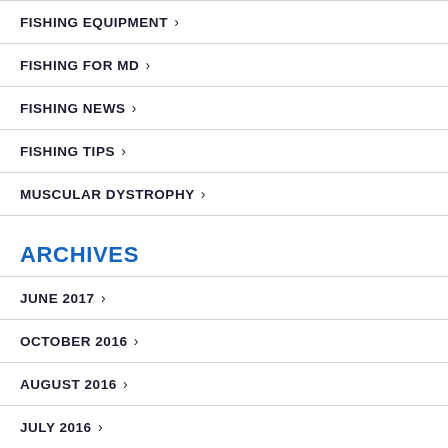FISHING EQUIPMENT ›
FISHING FOR MD ›
FISHING NEWS ›
FISHING TIPS ›
MUSCULAR DYSTROPHY ›
ARCHIVES
JUNE 2017 ›
OCTOBER 2016 ›
AUGUST 2016 ›
JULY 2016 ›
JUNE 2016 ›